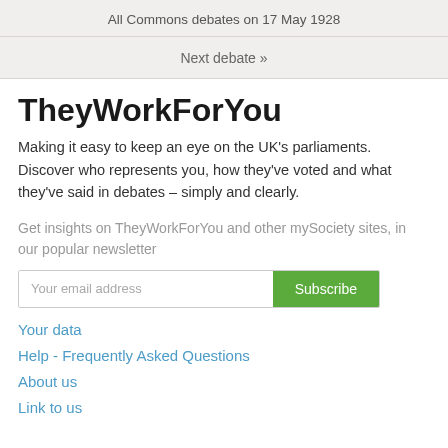All Commons debates on 17 May 1928
Next debate »
TheyWorkForYou
Making it easy to keep an eye on the UK's parliaments. Discover who represents you, how they've voted and what they've said in debates – simply and clearly.
Get insights on TheyWorkForYou and other mySociety sites, in our popular newsletter
Your email address  Subscribe
Your data
Help - Frequently Asked Questions
About us
Link to us